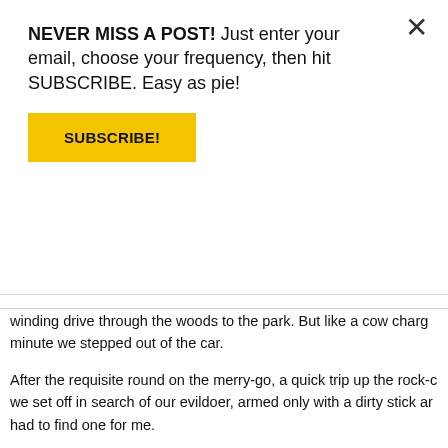NEVER MISS A POST! Just enter your email, choose your frequency, then hit SUBSCRIBE. Easy as pie!
SUBSCRIBE!
winding drive through the woods to the park. But like a cow charging the minute we stepped out of the car.
After the requisite round on the merry-go, a quick trip up the rock-c we set off in search of our evildoer, armed only with a dirty stick ar had to find one for me.
No, that one's too short. That one's too dirty. That one's too c one!
No buddy, that's a log.
Once we were both brandishing suitable wompers, we continued t puddle, pretending it was a swamp; across a dirt path covered in c logs. I astounded my traveling companion by jumping up and catch tree. Breaking it in half, this enabling us both to have even longer, infinitely cooler than our previous weaponry. I soon had to make t